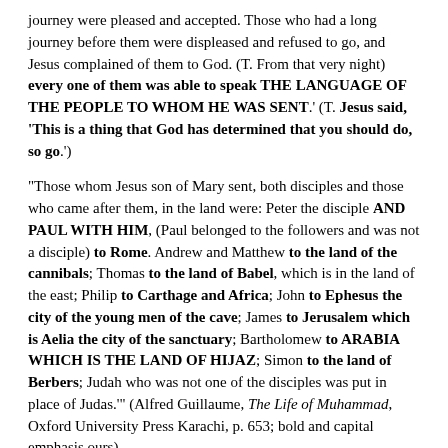journey were pleased and accepted. Those who had a long journey before them were displeased and refused to go, and Jesus complained of them to God. (T. From that very night) every one of them was able to speak THE LANGUAGE OF THE PEOPLE TO WHOM HE WAS SENT.' (T. Jesus said, 'This is a thing that God has determined that you should do, so go.')
"Those whom Jesus son of Mary sent, both disciples and those who came after them, in the land were: Peter the disciple AND PAUL WITH HIM, (Paul belonged to the followers and was not a disciple) to Rome. Andrew and Matthew to the land of the cannibals; Thomas to the land of Babel, which is in the land of the east; Philip to Carthage and Africa; John to Ephesus the city of the young men of the cave; James to Jerusalem which is Aelia the city of the sanctuary; Bartholomew to ARABIA WHICH IS THE LAND OF HIJAZ; Simon to the land of Berbers; Judah who was not one of the disciples was put in place of Judas.'" (Alfred Guillaume, The Life of Muhammad, Oxford University Press Karachi, p. 653; bold and capital emphasis ours)
And from al-Tabari: